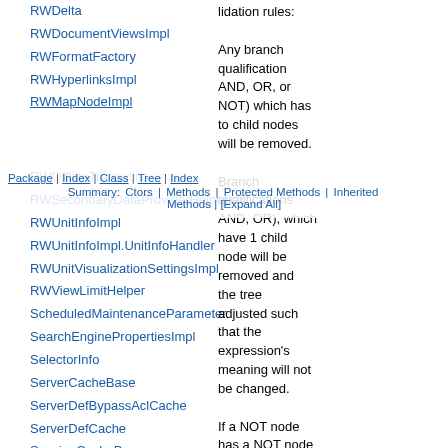RWDelta
RWDocumentViewsImpl
RWFormatFactory
RWHyperlinksImpl
RWMapNodeImpl
Package | Index | Class | Tree | Index
Summary: Ctors | Methods | Protected Methods | Inherited Methods | [Expand All]
RWOfflineTransactionImpl
RWSecondaryDataProviderHelperImpl
RWUnitInfoImpl
RWUnitInfoImpl.UnitInfoHandler
RWUnitVisualizationSettingsImpl
RWViewLimitHelper
ScheduledMaintenanceParameter
SearchEnginePropertiesImpl
SelectorInfo
ServerCacheBase
ServerDefBypassAclCache
ServerDefCache
SessionCacheBase
SysDimensionCache
SysFolderBlackListHelper
SysFolderBlackListHelper.SystemFolderNode
WebACLParser
WebAssociatedScheduleSourceImpl
lidation rules:
Any branch qualification AND, OR, or NOT) which has to child nodes will be removed.
Branch qualifications AND, OR), which have 1 child node will be removed and the tree adjusted such that the expression's meaning will not be changed.
If a NOT node has a NOT node as it's child node, both not nodes will be removed.